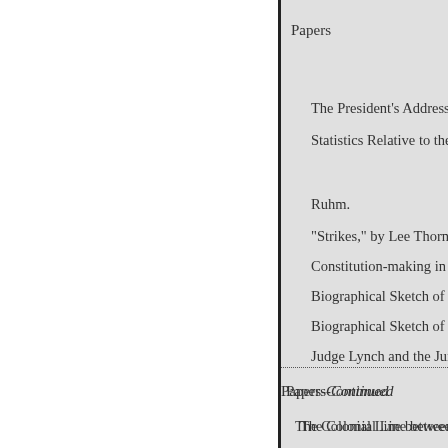Papers
The President's Address ..
Statistics Relative to the J
Ruhm.
“Strikes,” by Lee Thornto
Constitution-making in Te
Biographical Sketch of Sp
Biographical Sketch of Ch
Judge Lynch and the Jury
Papers-Continued
The Colonial Line between Vi